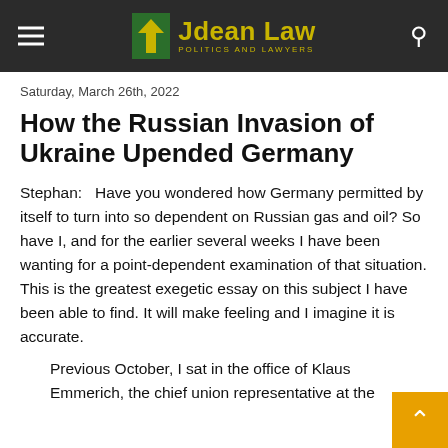Jdean Law — Politics and Lawyers
Saturday, March 26th, 2022
How the Russian Invasion of Ukraine Upended Germany
Stephan:   Have you wondered how Germany permitted by itself to turn into so dependent on Russian gas and oil? So have I, and for the earlier several weeks I have been wanting for a point-dependent examination of that situation. This is the greatest exegetic essay on this subject I have been able to find. It will make feeling and I imagine it is accurate.
Previous October, I sat in the office of Klaus Emmerich, the chief union representative at the